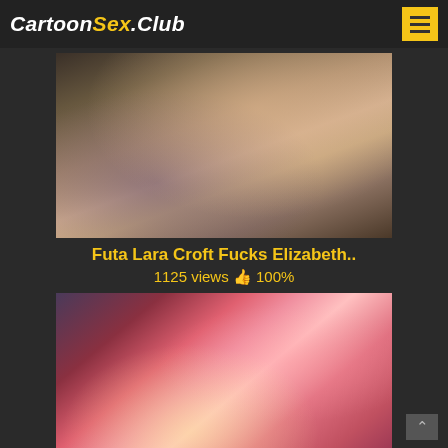CartoonSex.Club
[Figure (screenshot): 3D animated screenshot of Futa Lara Croft and Elizabeth from BioShock]
Futa Lara Croft Fucks Elizabeth..
1125 views 👍 100%
[Figure (screenshot): Anime/hentai screenshot of a blonde princess character]